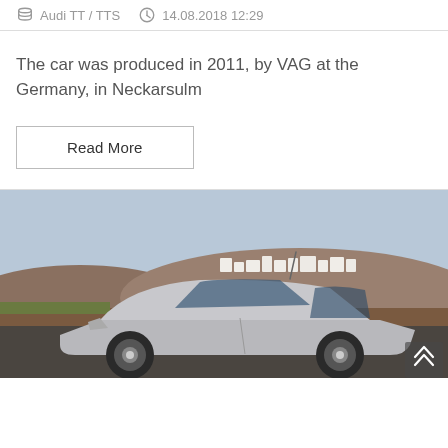Audi TT / TTS   14.08.2018 12:29
The car was produced in 2011, by VAG at the Germany, in Neckarsulm
Read More
[Figure (photo): Silver car photographed from the side in an outdoor setting with hills and white buildings in the background under a clear sky]